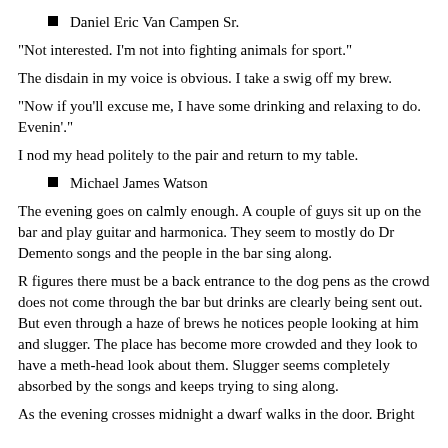Daniel Eric Van Campen Sr.
"Not interested. I'm not into fighting animals for sport."
The disdain in my voice is obvious. I take a swig off my brew.
"Now if you'll excuse me, I have some drinking and relaxing to do. Evenin'."
I nod my head politely to the pair and return to my table.
Michael James Watson
The evening goes on calmly enough. A couple of guys sit up on the bar and play guitar and harmonica. They seem to mostly do Dr Demento songs and the people in the bar sing along.
R figures there must be a back entrance to the dog pens as the crowd does not come through the bar but drinks are clearly being sent out. But even through a haze of brews he notices people looking at him and slugger. The place has become more crowded and they look to have a meth-head look about them. Slugger seems completely absorbed by the songs and keeps trying to sing along.
As the evening crosses midnight a dwarf walks in the door. Bright